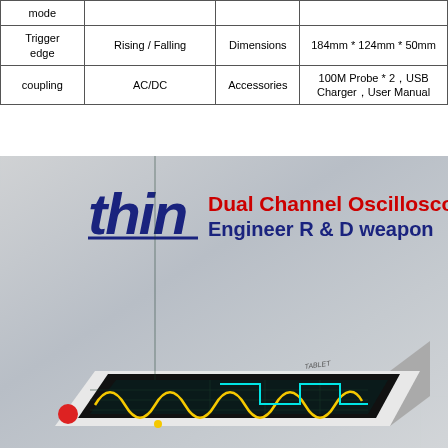| mode |  |  |  |
| Trigger edge | Rising / Falling | Dimensions | 184mm * 124mm * 50mm |
| coupling | AC/DC | Accessories | 100M Probe * 2，USB Charger，User Manual |
[Figure (photo): Product advertisement image showing a thin dual channel oscilloscope tablet device with a touchscreen display showing waveforms (sine wave in yellow and square wave in cyan). The image includes the brand logo text 'thin' in dark navy bold italic, with 'Dual Channel Oscilloscope' in red and 'Engineer R & D weapon' in dark navy. Background is grey gradient.]